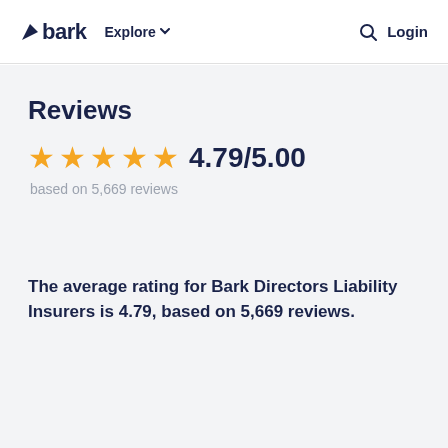bark  Explore  Login
Reviews
4.79/5.00
based on 5,669 reviews
The average rating for Bark Directors Liability Insurers is 4.79, based on 5,669 reviews.